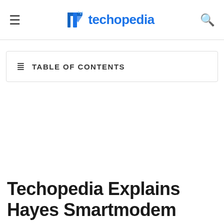techopedia
TABLE OF CONTENTS
Techopedia Explains Hayes Smartmodem